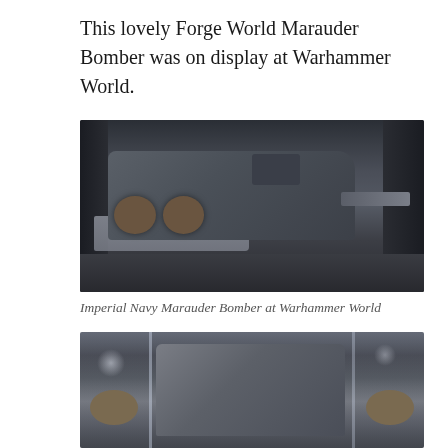This lovely Forge World Marauder Bomber was on display at Warhammer World.
[Figure (photo): Close-up photograph of a Forge World Imperial Navy Marauder Bomber scale model. The model is painted in dark grey-green tones, showing detailed engines with fan turbines on the left wing, a cockpit, and multi-barrelled gun turrets on the right. The background is dark and blurred.]
Imperial Navy Marauder Bomber at Warhammer World
[Figure (photo): Partial photograph of another scale model (likely a second angle or different model) displayed at Warhammer World, showing the front section with engines, painted in dark military colours. Bokeh background visible.]